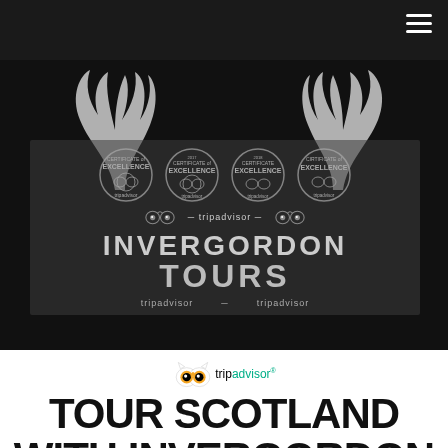[Figure (logo): Invergordon Tours logo with antlers, TripAdvisor Certificate of Excellence badges, and tripadvisor branding on dark background]
[Figure (logo): TripAdvisor owl logo above the text 'tripadvisor']
TOUR SCOTLAND WITH INVERGORDON TOURS